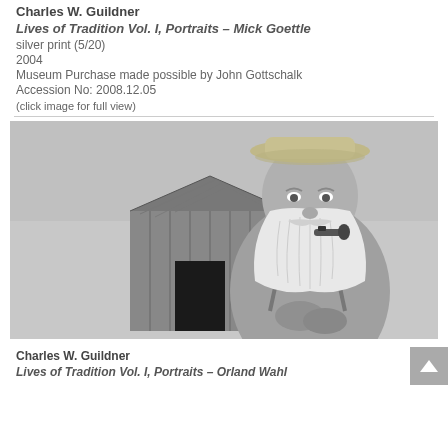Charles W. Guildner
Lives of Tradition Vol. I, Portraits – Mick Goettle
silver print (5/20)
2004
Museum Purchase made possible by John Gottschalk
Accession No: 2008.12.05
(click image for full view)
[Figure (photo): Black and white photograph of an elderly man with a long white beard and mustache, wearing a straw hat and suspenders, holding a pipe in his mouth. He stands in front of a rustic wooden barn or shed structure with a metal roof. The man looks directly at the camera with a serious expression.]
Charles W. Guildner
Lives of Tradition Vol. I, Portraits – Orland Wahl